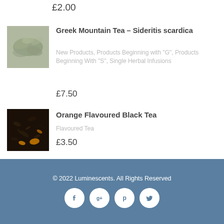£2.00
[Figure (photo): Product image for Greek Mountain Tea – dried herbs/leaves]
Greek Mountain Tea – Sideritis scardica
New Products, Products Beginning with "G", Products Beginning With "S", Single Herbal Infusions
£7.50
[Figure (photo): Product image for Orange Flavoured Black Tea – dark loose leaf tea with orange pieces]
Orange Flavoured Black Tea
Flavoured Tea
£3.50
© 2022 Luminescents. All Rights Reserved